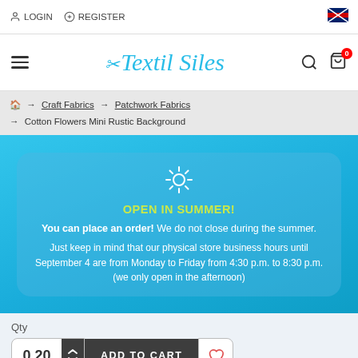LOGIN  REGISTER
[Figure (logo): Textil Siles logo with scissors icon and search/cart icons]
🏠 → Craft Fabrics → Patchwork Fabrics → Cotton Flowers Mini Rustic Background
[Figure (infographic): Blue banner with sun icon, green text 'OPEN IN SUMMER!', white text: 'You can place an order! We do not close during the summer. Just keep in mind that our physical store business hours until September 4 are from Monday to Friday from 4:30 p.m. to 8:30 p.m. (we only open in the afternoon)']
Qty
0.20  ADD TO CART  ♡  Cotton Flowers Mini Rustic Background